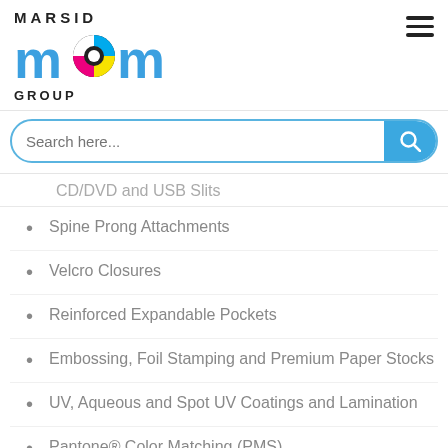[Figure (logo): Marsid M&M Group logo with colorful CMYK circle icon and bold text]
Search here...
CD/DVD and USB Slits
Spine Prong Attachments
Velcro Closures
Reinforced Expandable Pockets
Embossing, Foil Stamping and Premium Paper Stocks
UV, Aqueous and Spot UV Coatings and Lamination
Pantone® Color Matching (PMS)
Some di... of th... ti... d...